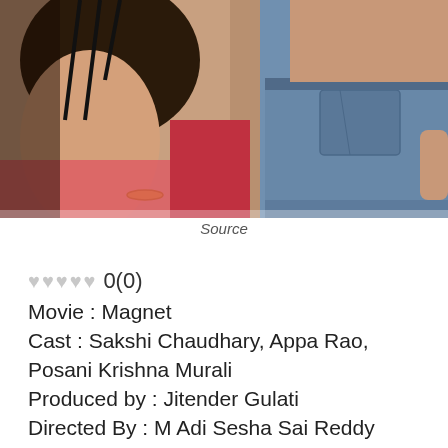[Figure (photo): Two women in close physical proximity; one wearing a black strappy top with long dark hair, and the other wearing denim shorts, photographed from behind.]
Source
♥♥♥♥♥ 0(0)
Movie : Magnet
Cast : Sakshi Chaudhary, Appa Rao, Posani Krishna Murali
Produced by : Jitender Gulati
Directed By : M Adi Sesha Sai Reddy
Music Director : Dr.Kishan
PRODUCTION DESIGNER: GOVIND